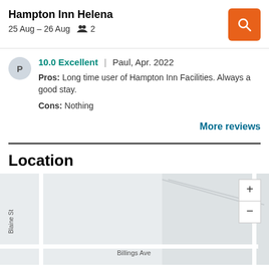Hampton Inn Helena
25 Aug – 26 Aug  👥 2
10.0 Excellent | Paul, Apr. 2022
Pros: Long time user of Hampton Inn Facilities. Always a good stay.
Cons: Nothing
More reviews
Location
[Figure (map): Street map showing Blaine St and Billings Ave near Hampton Inn Helena, with zoom in/out controls]